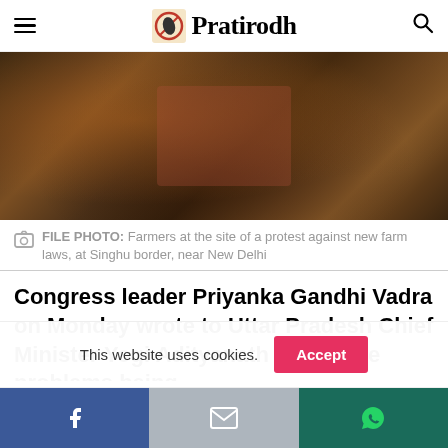Pratirodh
[Figure (photo): Dark blurry photograph of farmers at a protest site, showing people and equipment in dim lighting]
FILE PHOTO: Farmers at the site of a protest against new farm laws, at Singhu border, near New Delhi
Congress leader Priyanka Gandhi Vadra on Monday wrote to Uttar Pradesh Chief Minister Yogi Adityanath to flag the problems being
This website uses cookies.
Accept